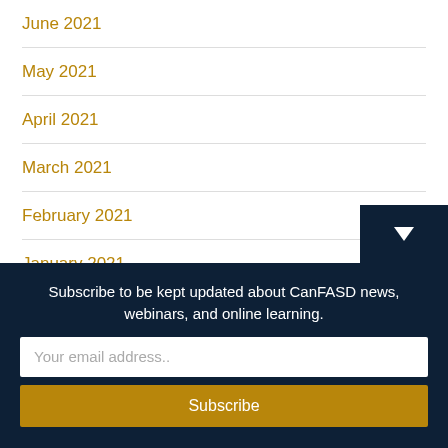June 2021
May 2021
April 2021
March 2021
February 2021
January 2021
December 2020
November 2020
Subscribe to be kept updated about CanFASD news, webinars, and online learning.
Your email address..
Subscribe